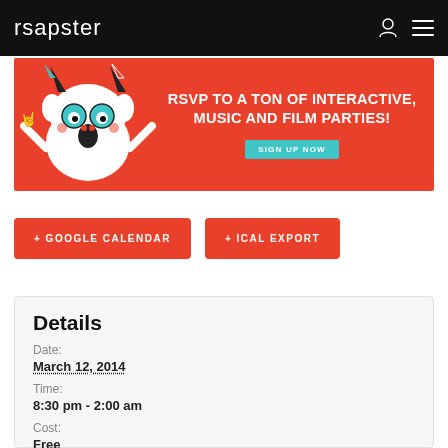rsapster
[Figure (illustration): Promotional banner on orange/red background with a cartoon monster wearing party hats and text 'RSVP TO A TON OF INTERACTIVE, MUSIC AND FILM PARTIES!' with a teal 'SIGN UP NOW' button]
+ GOOGLE CALENDAR
+ ICAL EXPORT
Details
Date:
March 12, 2014
Time:
8:30 pm - 2:00 am
Cost:
Free